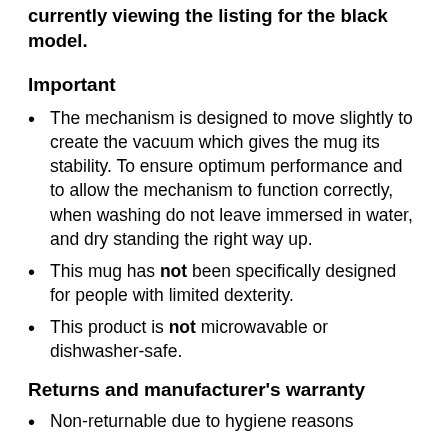currently viewing the listing for the black model.
Important
The mechanism is designed to move slightly to create the vacuum which gives the mug its stability. To ensure optimum performance and to allow the mechanism to function correctly, when washing do not leave immersed in water, and dry standing the right way up.
This mug has not been specifically designed for people with limited dexterity.
This product is not microwavable or dishwasher-safe.
Returns and manufacturer's warranty
Non-returnable due to hygiene reasons